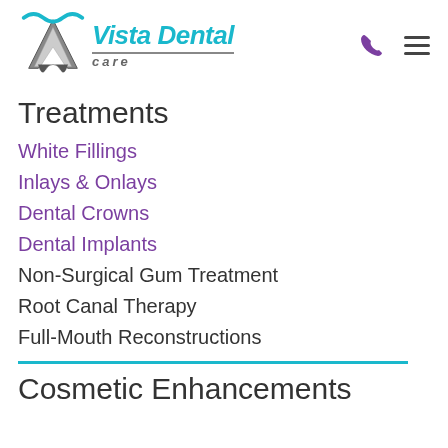[Figure (logo): Vista Dental Care logo with mountain/tooth icon in grey and blue, teal and blue text reading 'Vista Dental' in italic bold, with 'care' below in italic grey with a line above]
Treatments
White Fillings
Inlays & Onlays
Dental Crowns
Dental Implants
Non-Surgical Gum Treatment
Root Canal Therapy
Full-Mouth Reconstructions
Cosmetic Enhancements